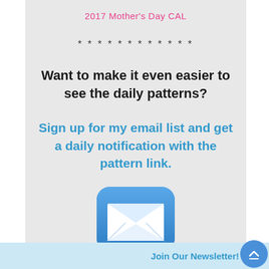2017 Mother's Day CAL
* * * * * * * * * * * *
Want to make it even easier to see the daily patterns?
Sign up for my email list and get a daily notification with the pattern link.
[Figure (illustration): Blue rounded square email icon with white envelope symbol]
Join Our Newsletter!